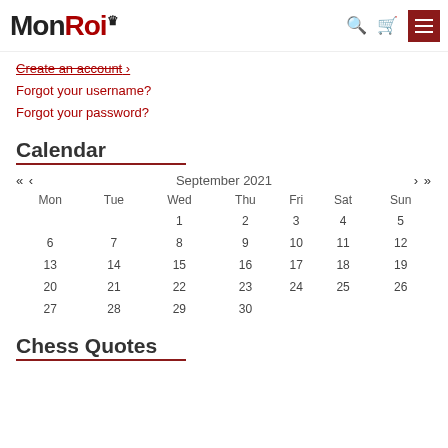MonRoi — navigation header with search, bag, and menu icons
Create an account →
Forgot your username?
Forgot your password?
Calendar
| Mon | Tue | Wed | Thu | Fri | Sat | Sun |
| --- | --- | --- | --- | --- | --- | --- |
|  |  | 1 | 2 | 3 | 4 | 5 |
| 6 | 7 | 8 | 9 | 10 | 11 | 12 |
| 13 | 14 | 15 | 16 | 17 | 18 | 19 |
| 20 | 21 | 22 | 23 | 24 | 25 | 26 |
| 27 | 28 | 29 | 30 |  |  |  |
Chess Quotes